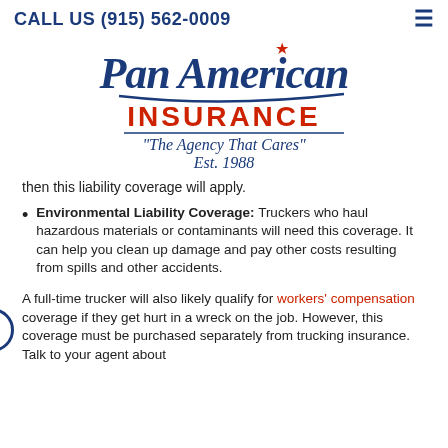CALL US (915) 562-0009
[Figure (logo): Pan American Insurance logo with red star, italic serif Pan American text, bold red INSURANCE text, tagline 'The Agency That Cares', Est. 1988]
then this liability coverage will apply.
Environmental Liability Coverage: Truckers who haul hazardous materials or contaminants will need this coverage. It can help you clean up damage and pay other costs resulting from spills and other accidents.
A full-time trucker will also likely qualify for workers' compensation coverage if they get hurt in a wreck on the job. However, this coverage must be purchased separately from trucking insurance. Talk to your agent about